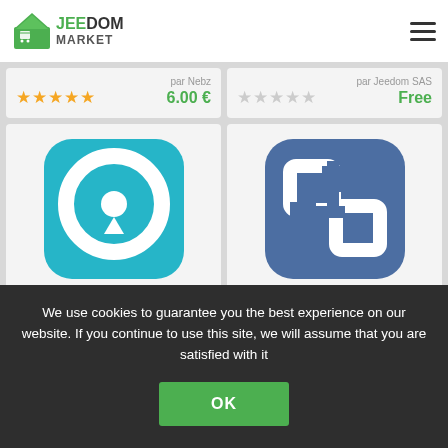JEEDOM MARKET
par Nebz
★★★★★ 6.00 €
par Jeedom SAS
☆☆☆☆☆ Free
[Figure (logo): Veolia eau app icon — teal rounded square with white circle and teardrop logo, text VEOLIA EAU below]
Veolia eau
[Figure (logo): VMWARE app icon — blue rounded square with two interlocking squares logo]
VMWARE
We use cookies to guarantee you the best experience on our website. If you continue to use this site, we will assume that you are satisfied with it